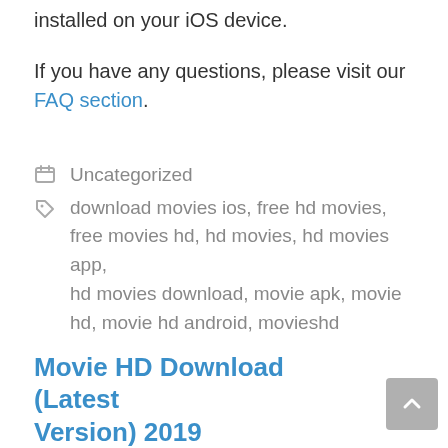installed on your iOS device.
If you have any questions, please visit our FAQ section.
Uncategorized
download movies ios, free hd movies, free movies hd, hd movies, hd movies app, hd movies download, movie apk, movie hd, movie hd android, movieshd
Movie HD Download (Latest Version) 2019